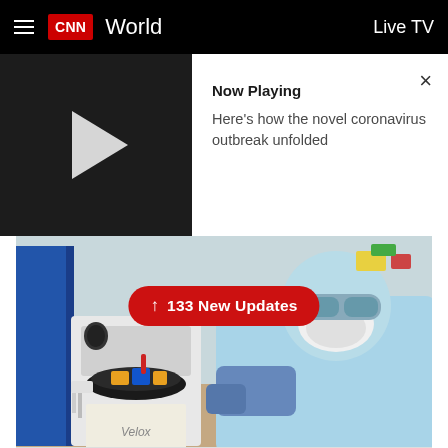CNN World | Live TV
[Figure (screenshot): Video player strip showing a dark left panel with a play button and a white right panel labeled 'Now Playing' with text 'Here's how the novel coronavirus outbreak unfolded' and a close (×) button]
[Figure (photo): A paramedic in blue protective suit and respirator mask works with a centrifuge to test blood samples at a hospital in Tehran, Iran. An overlay badge reads '↑ 133 New Updates'.]
A paramedic works with a centrifuge to test blood samples taken from patients suspected of being infected with the new coronavirus, at a hospital in Tehran, Iran, on Sunday, March 1. Ali Shirband/Mizan News Agency via AP